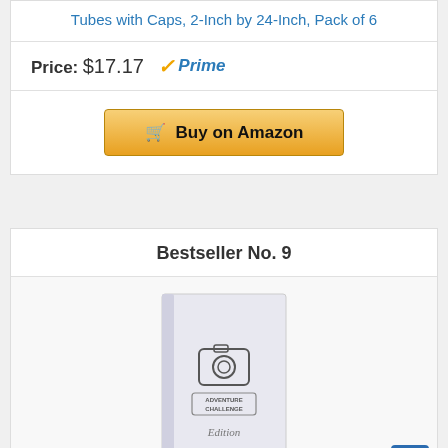Tubes with Caps, 2-Inch by 24-Inch, Pack of 6
Price: $17.17 ✓Prime
[Figure (other): Buy on Amazon button with shopping cart icon]
Bestseller No. 9
[Figure (photo): The Adventure Challenge Couples Edition book with camera icon and script text on cover]
The Adventure Challenge Couples Edition - 50